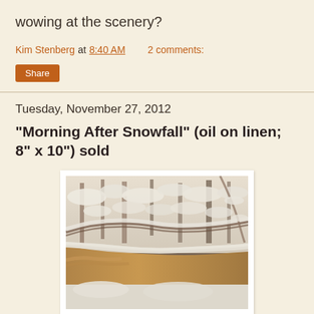wowing at the scenery?
Kim Stenberg at 8:40 AM   2 comments:
Share
Tuesday, November 27, 2012
"Morning After Snowfall" (oil on linen; 8" x 10") sold
[Figure (photo): Oil painting titled 'Morning After Snowfall' showing a snowy winter scene with snow-laden tree branches over a stream or creek, with warm brown and orange tones of bark contrasting against white snow, impressionistic style]